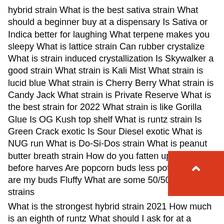hybrid strain What is the best sativa strain What should a beginner buy at a dispensary Is Sativa or Indica better for laughing What terpene makes you sleepy What is lattice strain Can rubber crystalize What is strain induced crystallization Is Skywalker a good strain What strain is Kali Mist What strain is lucid blue What strain is Cherry Berry What strain is Candy Jack What strain is Private Reserve What is the best strain for 2022 What strain is like Gorilla Glue Is OG Kush top shelf What is runtz strain Is Green Crack exotic Is Sour Diesel exotic What is NUG run What is Do-Si-Dos strain What is peanut butter breath strain How do you fatten up buds before harves Are popcorn buds less potent Why are my buds Fluffy What are some 50/50 hybrid strains
What is the strongest hybrid strain 2021 How much is an eighth of runtz What should I ask for at a dispensary How do you pick a strain
Which terpene is best for depression What strain has the highest terpenes What terpene is best for anxiety Is grap FCC or BCC
What is Microstrain in XRD What is crystallite size XRD Is natural rubber a crystal How do polymers crystallize How